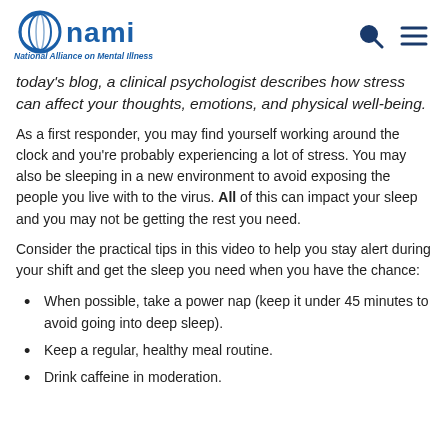NAMI - National Alliance on Mental Illness
today's blog, a clinical psychologist describes how stress can affect your thoughts, emotions, and physical well-being.
As a first responder, you may find yourself working around the clock and you're probably experiencing a lot of stress. You may also be sleeping in a new environment to avoid exposing the people you live with to the virus. All of this can impact your sleep and you may not be getting the rest you need.
Consider the practical tips in this video to help you stay alert during your shift and get the sleep you need when you have the chance:
When possible, take a power nap (keep it under 45 minutes to avoid going into deep sleep).
Keep a regular, healthy meal routine.
Drink caffeine in moderation.